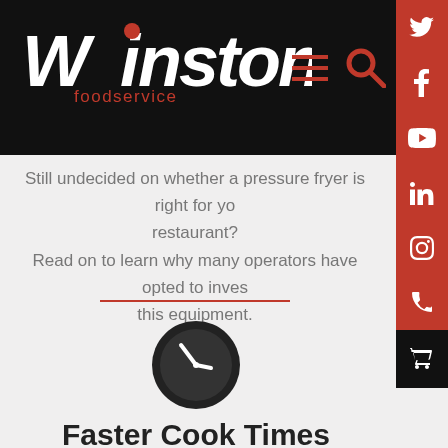[Figure (logo): Winston Foodservice logo — stylized W mark in white with red dot on the i, text 'Winston' in white bold italic, 'foodservice' in red below]
[Figure (infographic): Navigation bar icons: hamburger menu (3 red lines) and red magnifying glass search icon on black background]
[Figure (infographic): Right sidebar with social media icons: Twitter (bird), Facebook (f), YouTube (play), LinkedIn (in), Instagram (camera), Phone, and cart icons on red/black backgrounds]
Still undecided on whether a pressure fryer is right for your restaurant?
Read on to learn why many operators have opted to invest in this equipment.
[Figure (illustration): Dark circular clock icon with white clock face showing approximately 10:10]
Faster Cook Times
Pressure fryers have the advantage over...